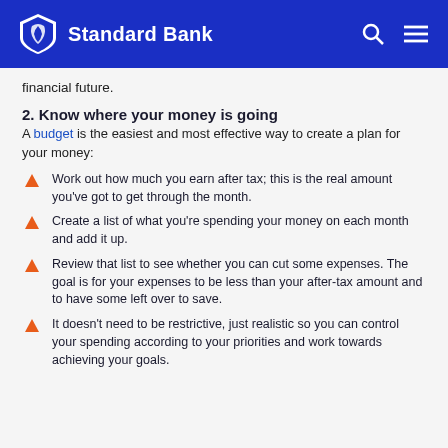Standard Bank
financial future.
2. Know where your money is going
A budget is the easiest and most effective way to create a plan for your money:
Work out how much you earn after tax; this is the real amount you've got to get through the month.
Create a list of what you're spending your money on each month and add it up.
Review that list to see whether you can cut some expenses. The goal is for your expenses to be less than your after-tax amount and to have some left over to save.
It doesn't need to be restrictive, just realistic so you can control your spending according to your priorities and work towards achieving your goals.